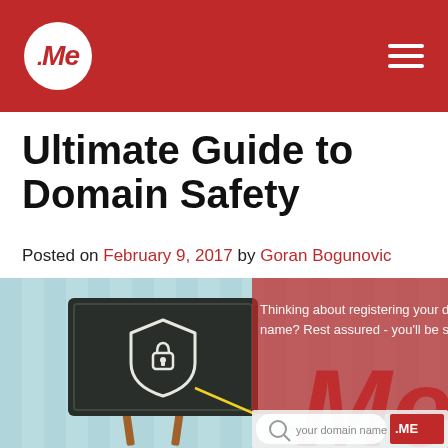.Me (logo) — navigation header bar
Ultimate Guide to Domain Safety
Posted on February 9, 2017 by Goran Bogunovic
[Figure (infographic): Infographic showing a blackboard on an easel with a shield and padlock chalk drawing, a yellow pointer line, a red dot, and on the right a semi-transparent red overlay with text 'Thinking about registering your domain name? Rest assured - you'll be sa...' and a domain search bar showing 'your domain name' and '.ME' button, with large red .ME logo letters in background.]